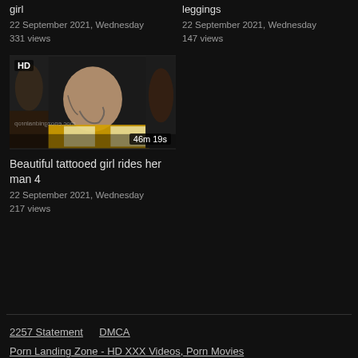girl
22 September 2021, Wednesday
331 views
leggings
22 September 2021, Wednesday
147 views
[Figure (photo): Video thumbnail showing tattooed woman, with HD badge top-left and 46m 19s duration bottom-right, watermark text bottom-left]
Beautiful tattooed girl rides her man 4
22 September 2021, Wednesday
217 views
2257 Statement   DMCA
Porn Landing Zone - HD XXX Videos, Porn Movies